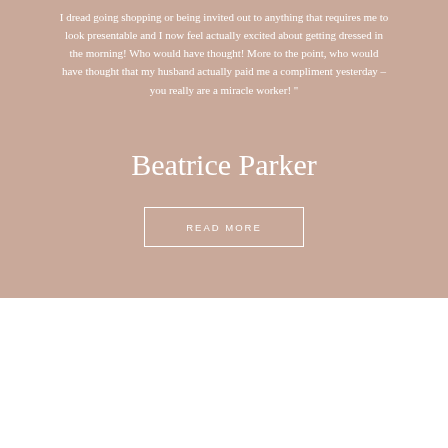I dread going shopping or being invited out to anything that requires me to look presentable and I now feel actually excited about getting dressed in the morning! Who would have thought! More to the point, who would have thought that my husband actually paid me a compliment yesterday – you really are a miracle worker! "
Beatrice Parker
READ MORE
WHY CHOOSE THE MM PERSONAL STYLING?
PERSONAL STYLIST WILTSHIRE & HAMPSHIRE